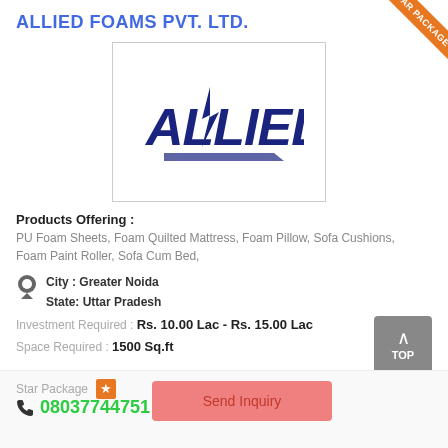ALLIED FOAMS PVT. LTD.
[Figure (logo): Allied logo with stylized text ALLIED in dark blue/navy]
Products Offering : PU Foam Sheets, Foam Quilted Mattress, Foam Pillow, Sofa Cushions, Foam Paint Roller, Sofa Cum Bed,
City : Greater Noida
State: Uttar Pradesh
Investment Required : Rs. 10.00 Lac - Rs. 15.00 Lac
Space Required : 1500 Sq.ft
Star Package
08037744751
Send Inquiry